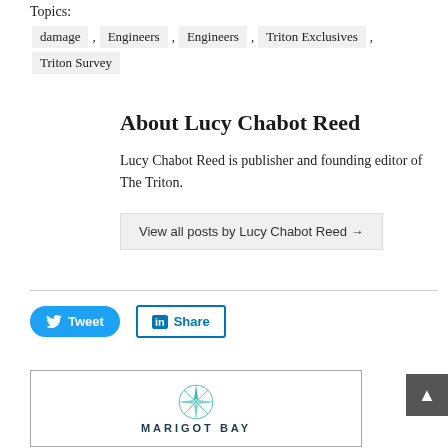Topics:
damage , Engineers , Engineers , Triton Exclusives , Triton Survey
About Lucy Chabot Reed
Lucy Chabot Reed is publisher and founding editor of The Triton.
View all posts by Lucy Chabot Reed →
[Figure (infographic): Twitter Tweet button and LinkedIn Share button]
[Figure (logo): Marigot Bay logo with compass rose icon and text MARIGOT BAY]